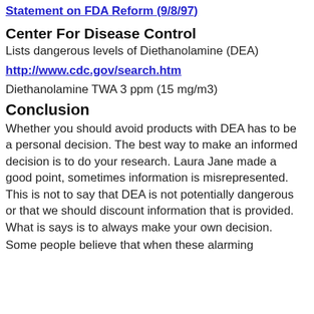Statement on FDA Reform (9/8/97)
Center For Disease Control
Lists dangerous levels of Diethanolamine (DEA)
http://www.cdc.gov/search.htm
Diethanolamine TWA 3 ppm (15 mg/m3)
Conclusion
Whether you should avoid products with DEA has to be a personal decision. The best way to make an informed decision is to do your research. Laura Jane made a good point, sometimes information is misrepresented. This is not to say that DEA is not potentially dangerous or that we should discount information that is provided. What is says is to always make your own decision.
Some people believe that when these alarming